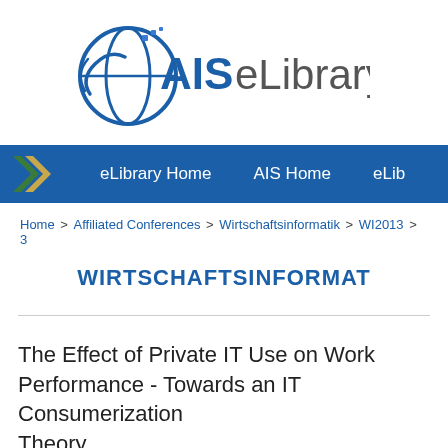[Figure (logo): AIS eLibrary logo with globe and figure icon on left, text 'AIS eLibrary' on right]
eLibrary Home   AIS Home   eLib
Home > Affiliated Conferences > Wirtschaftsinformatik > WI2013 > 3
WIRTSCHAFTSINFORMAT
The Effect of Private IT Use on Work Performance - Towards an IT Consumerization Theory